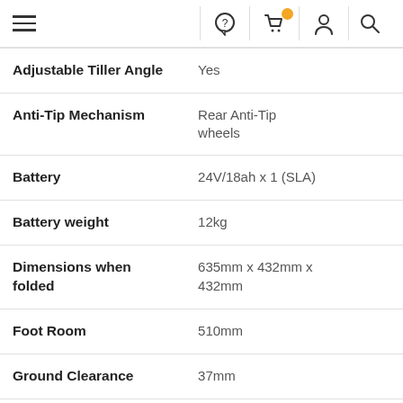Navigation bar with hamburger menu, chat icon, cart icon (with orange badge), user icon, search icon
| Specification | Value |
| --- | --- |
| Adjustable Tiller Angle | Yes |
| Anti-Tip Mechanism | Rear Anti-Tip wheels |
| Battery | 24V/18ah x 1 (SLA) |
| Battery weight | 12kg |
| Dimensions when folded | 635mm x 432mm x 432mm |
| Foot Room | 510mm |
| Ground Clearance | 37mm |